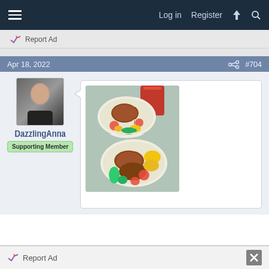≡  Log in  Register  ⚡  🔍
Report Ad
Apr 18, 2022  #704
DazzlingAnna
Supporting Member
[Figure (photo): Two plates of food with meat patties, vegetables (tomatoes, cucumbers, greens), potatoes, and a red drink in background]
Report Ad